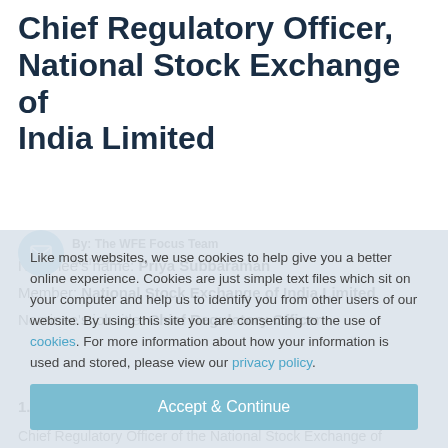Chief Regulatory Officer, National Stock Exchange of India Limited
By: The WFE Focus Team
Mar 2021
Nominee's name: Priya Subbaraman
Member: National Stock Exchange of India Limited
Nominee's job title: Chief Regulatory Officer
Like most websites, we use cookies to help give you a better online experience. Cookies are just simple text files which sit on your computer and help us to identify you from other users of our website. By using this site you are consenting to the use of cookies. For more information about how your information is used and stored, please view our privacy policy.
Accept & Continue
1. - Brief description of nominee's role/job:
Chief Regulatory Officer of the National Stock Exchange of